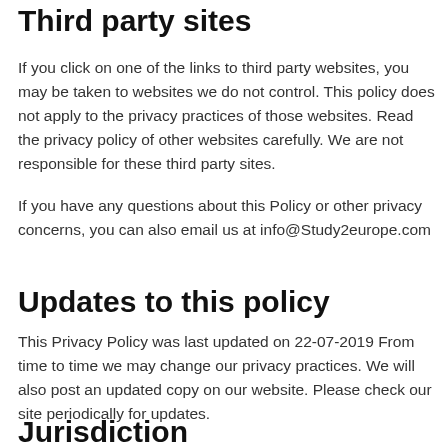Third party sites
If you click on one of the links to third party websites, you may be taken to websites we do not control. This policy does not apply to the privacy practices of those websites. Read the privacy policy of other websites carefully. We are not responsible for these third party sites.
If you have any questions about this Policy or other privacy concerns, you can also email us at info@Study2europe.com
Updates to this policy
This Privacy Policy was last updated on 22-07-2019 From time to time we may change our privacy practices. We will also post an updated copy on our website. Please check our site periodically for updates.
Jurisdiction